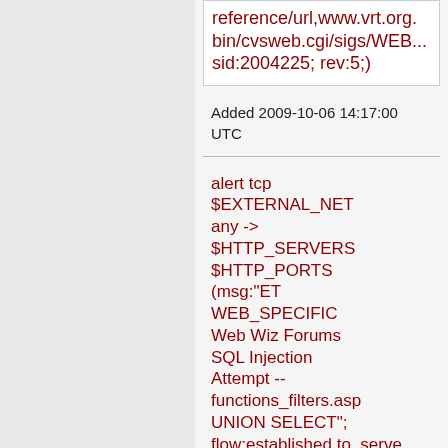reference/url,www.vrt.org.bin/cvsweb.cgi/sigs/WEB...sid:2004225; rev:5;)
Added 2009-10-06 14:17:00 UTC
alert tcp $EXTERNAL_NET any -> $HTTP_SERVERS $HTTP_PORTS (msg:"ET WEB_SPECIFIC Web Wiz Forums SQL Injection Attempt -- functions_filters.asp UNION SELECT"; flow:established,to_serve